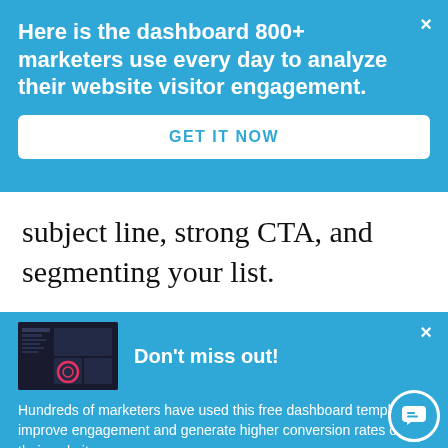Here is the dashboard 800+ marketers use every day to analyze their website visitor engagement.
GET IT NOW
subject line, strong CTA, and segmenting your list.
Don't miss out!
[Figure (screenshot): Small thumbnail of a dark dashboard interface with a circular highlight element]
Hundreds of marketers have used this free dashboard template to improve engagement and generate higher conversion rates on their websites.
GET FREE TEMPLATE